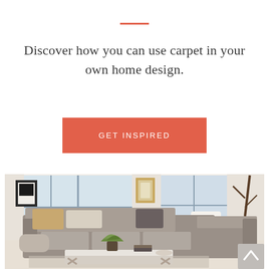Discover how you can use carpet in your own home design.
GET INSPIRED
[Figure (photo): Living room scene with a large grey sectional sofa with cushions, a marble-top coffee table, a plant, books, and a decorative bowl. Background shows large windows, framed artwork, and a sculptural tree branch. Warm neutral tones throughout.]